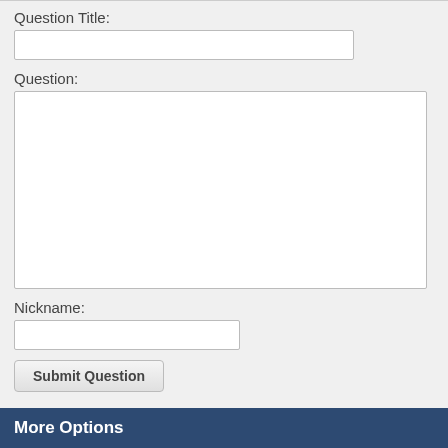Question Title:
Question:
Nickname:
Submit Question
More Options
More Xbox One Games
Submit Cheats